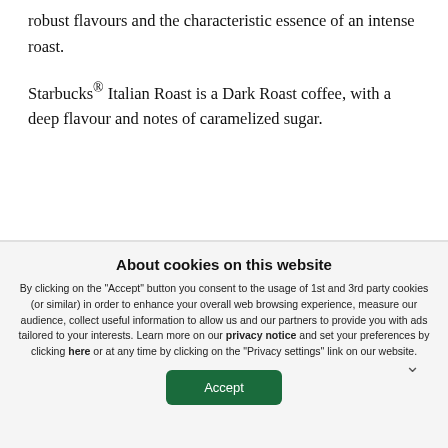robust flavours and the characteristic essence of an intense roast.
Starbucks® Italian Roast is a Dark Roast coffee, with a deep flavour and notes of caramelized sugar.
About cookies on this website
By clicking on the "Accept" button you consent to the usage of 1st and 3rd party cookies (or similar) in order to enhance your overall web browsing experience, measure our audience, collect useful information to allow us and our partners to provide you with ads tailored to your interests. Learn more on our privacy notice and set your preferences by clicking here or at any time by clicking on the "Privacy settings" link on our website.